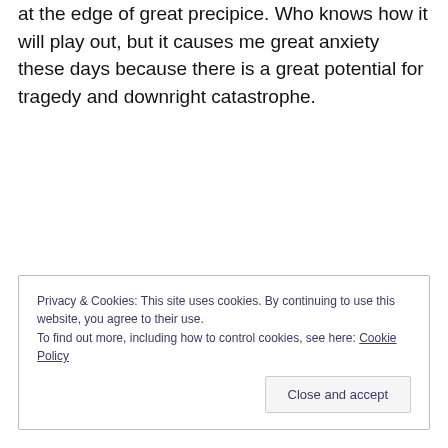at the edge of great precipice. Who knows how it will play out, but it causes me great anxiety these days because there is a great potential for tragedy and downright catastrophe.
Privacy & Cookies: This site uses cookies. By continuing to use this website, you agree to their use.
To find out more, including how to control cookies, see here: Cookie Policy
Close and accept